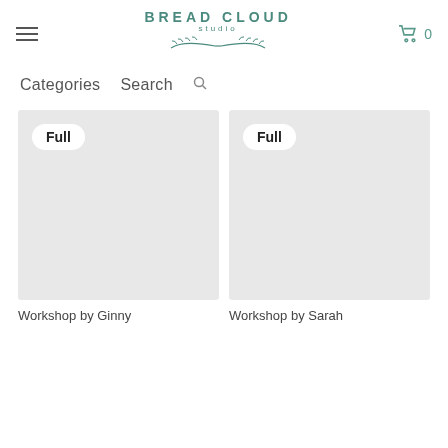BREAD CLOUD studio
Categories   Search
[Figure (other): Product card image placeholder (gray rectangle) with 'Full' badge, left card]
[Figure (other): Product card image placeholder (gray rectangle) with 'Full' badge, right card]
Workshop by Ginny
Workshop by Sarah